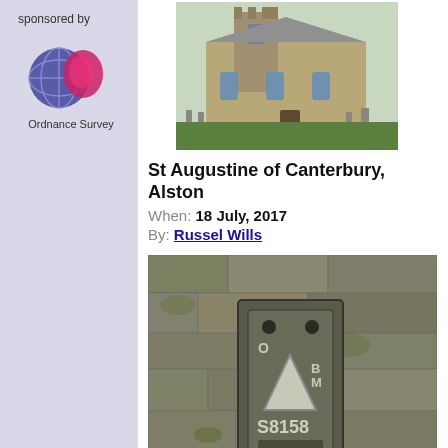sponsored by
[Figure (logo): Ordnance Survey logo with globe and pink/blue design, labeled 'Ordnance Survey']
[Figure (photo): Photo of St Augustine of Canterbury church, Alston, showing stone church building with graveyard]
St Augustine of Canterbury, Alston
When: 18 July, 2017
By: Russel Wills
[Figure (photo): Photo of Ordnance Survey Flush Bracket S8158 mounted in stone wall, showing benchmark marker]
Ordnance Survey Flush Bracket S8158
When: 27 March, 2017
By: Peter Wood